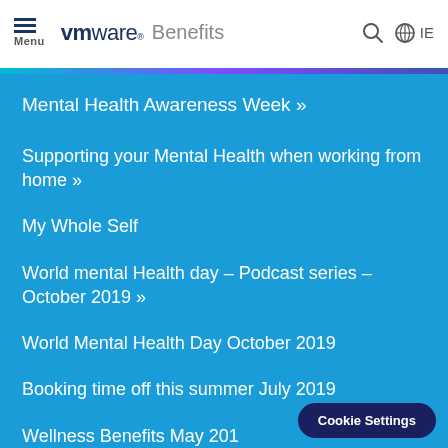VMware Benefits — Menu | Search | IE
Mental Health Awareness Week »
Supporting your Mental Health when working from home »
My Whole Self
World mental Health day – Podcast series – October 2019 »
World Mental Health Day October 2019
Booking time off this summer July 2019
Wellness Benefits May 201...
Cookie Settings